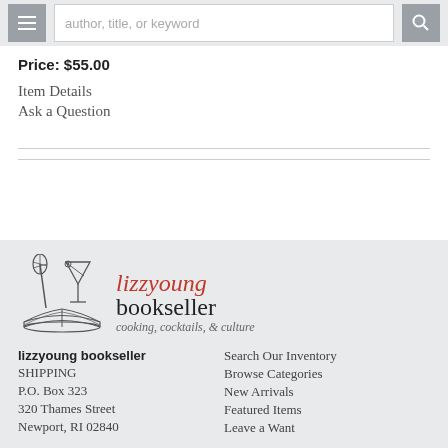author, title, or keyword [search bar with hamburger menu and search button]
Price: $55.00
Item Details
Ask a Question
[Figure (logo): lizzyoung bookseller logo with whisk, martini glass, and open book illustration. Text: lizzyoung bookseller — cooking, cocktails, & culture]
lizzyoung bookseller
SHIPPING
P.O. Box 323
320 Thames Street
Newport, RI 02840
Search Our Inventory
Browse Categories
New Arrivals
Featured Items
Leave a Want